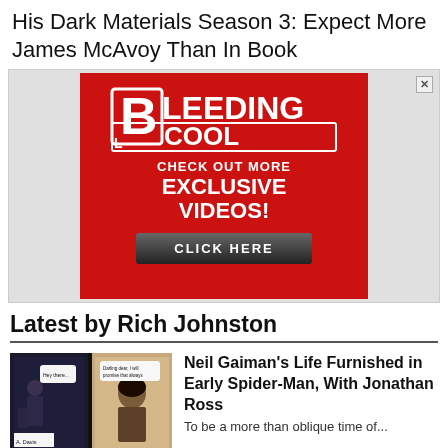His Dark Materials Season 3: Expect More James McAvoy Than In Book
[Figure (advertisement): Bleeding Cool advertisement showing red background with white logo text 'BLEEDING COOL', text 'CHECK OUT MORE EXCLUSIVE VIDEOS!' and a dark 'CLICK HERE' button]
Latest by Rich Johnston
[Figure (photo): Two comic book panels side by side showing dark scenes with characters]
Neil Gaiman's Life Furnished in Early Spider-Man, With Jonathan Ross
To be a more than oblique time of...